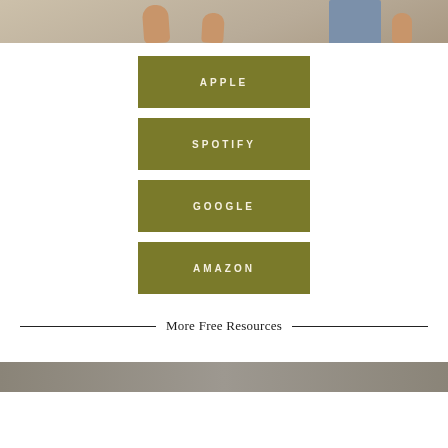[Figure (photo): Top of page showing feet/legs of two people standing, one wearing jeans, on a light neutral floor]
APPLE
SPOTIFY
GOOGLE
AMAZON
More Free Resources
[Figure (photo): Bottom partial photo with gray/taupe background]